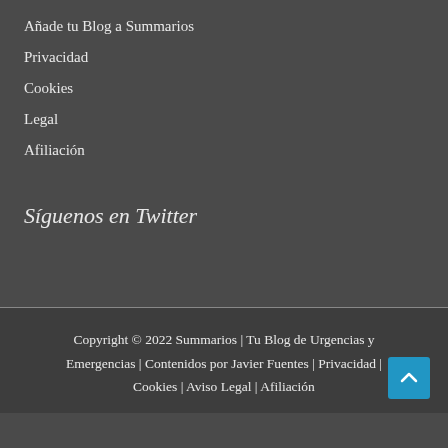Añade tu Blog a Summarios
Privacidad
Cookies
Legal
Afiliación
Síguenos en Twitter
Copyright © 2022 Summarios | Tu Blog de Urgencias y Emergencias | Contenidos por Javier Fuentes | Privacidad | Cookies | Aviso Legal | Afiliación